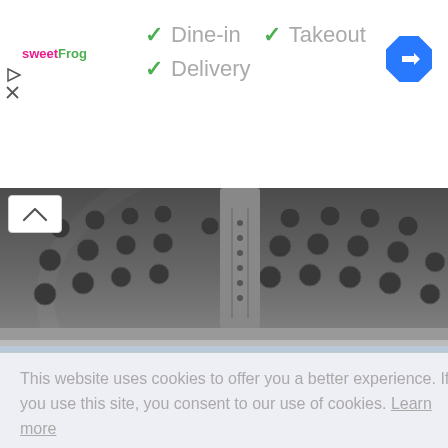[Figure (logo): sweetFrog logo in pink and green text]
✓ Dine-in ✓ Takeout ✓ Delivery
[Figure (illustration): Blue diamond-shaped direction/navigation icon with white arrow pointing right]
[Figure (photo): Close-up photo of inside of a washing machine drum showing metallic interior with water droplets and perforations]
This website uses cookies to offer you a better experience. If you use this site, you consent to our use of cookies. Learn more
I Agree
- Jeannie said: "Leave a dryer sheet between pillow &